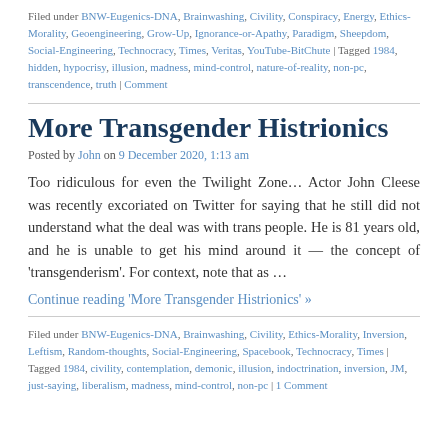Filed under BNW-Eugenics-DNA, Brainwashing, Civility, Conspiracy, Energy, Ethics-Morality, Geoengineering, Grow-Up, Ignorance-or-Apathy, Paradigm, Sheepdom, Social-Engineering, Technocracy, Times, Veritas, YouTube-BitChute | Tagged 1984, hidden, hypocrisy, illusion, madness, mind-control, nature-of-reality, non-pc, transcendence, truth | Comment
More Transgender Histrionics
Posted by John on 9 December 2020, 1:13 am
Too ridiculous for even the Twilight Zone… Actor John Cleese was recently excoriated on Twitter for saying that he still did not understand what the deal was with trans people. He is 81 years old, and he is unable to get his mind around it — the concept of 'transgenderism'. For context, note that as …
Continue reading 'More Transgender Histrionics' »
Filed under BNW-Eugenics-DNA, Brainwashing, Civility, Ethics-Morality, Inversion, Leftism, Random-thoughts, Social-Engineering, Spacebook, Technocracy, Times | Tagged 1984, civility, contemplation, demonic, illusion, indoctrination, inversion, JM, just-saying, liberalism, madness, mind-control, non-pc | 1 Comment